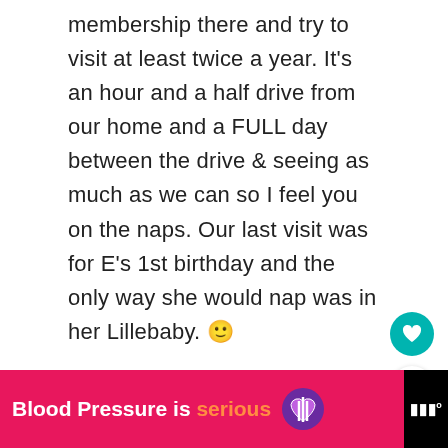membership there and try to visit at least twice a year. It's an hour and a half drive from our home and a FULL day between the drive & seeing as much as we can so I feel you on the naps. Our last visit was for E's 1st birthday and the only way she would nap was in her Lillebaby. 🙂
Reply
WHAT'S NEXT → Blueberry picking |...
[Figure (infographic): Pink advertisement banner reading 'Blood Pressure is serious' with a purple heart logo on black background, and a small brand logo on the right]
Blood Pressure is serious